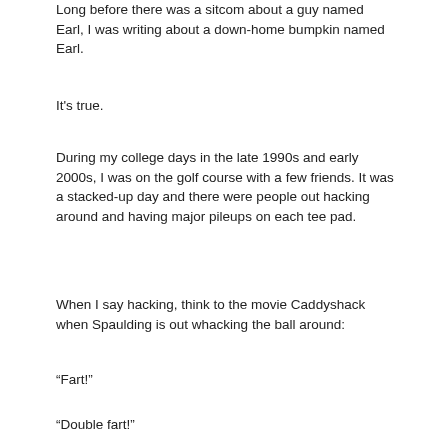Long before there was a sitcom about a guy named Earl, I was writing about a down-home bumpkin named Earl.
It's true.
During my college days in the late 1990s and early 2000s, I was on the golf course with a few friends. It was a stacked-up day and there were people out hacking around and having major pileups on each tee pad.
When I say hacking, think to the movie Caddyshack when Spaulding is out whacking the ball around:
“Fart!”
“Double fart!”